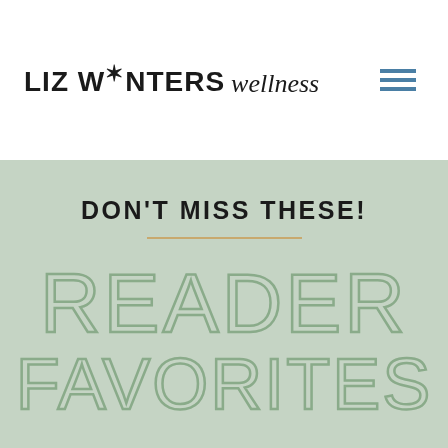LIZ WINTERS wellness
DON'T MISS THESE!
READER FAVORITES